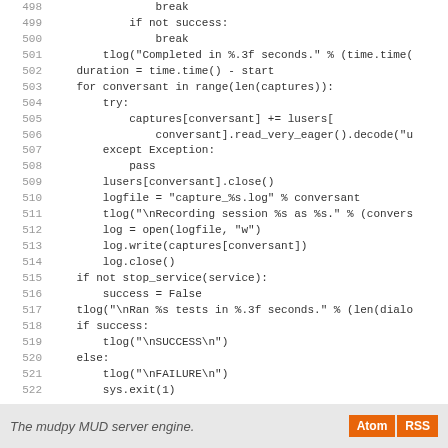[Figure (screenshot): Code listing showing Python source code lines 498–526, including a test loop with tlog calls, file writing, service stopping logic, success/failure reporting, and a main guard block.]
The mudpy MUD server engine.  Atom  RSS